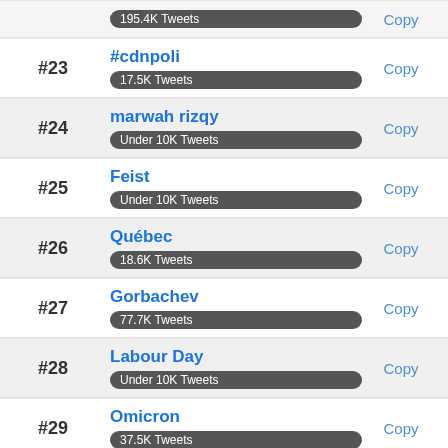195.4K Tweets | Copy
#23 | #cdnpoli | 17.5K Tweets | Copy
#24 | marwah rizqy | Under 10K Tweets | Copy
#25 | Feist | Under 10K Tweets | Copy
#26 | Québec | 18.6K Tweets | Copy
#27 | Gorbachev | 77.7K Tweets | Copy
#28 | Labour Day | Under 10K Tweets | Copy
#29 | Omicron | 37.5K Tweets | Copy